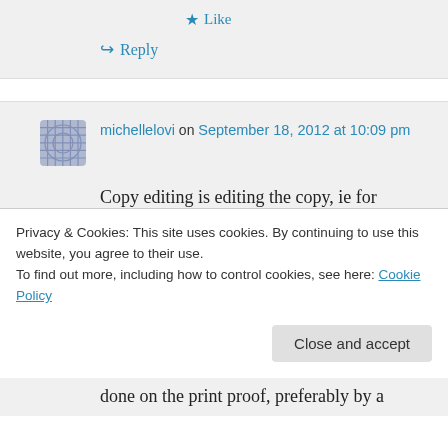taking the time to share.
★ Like
↪ Reply
michellelovi on September 18, 2012 at 10:09 pm
Copy editing is editing the copy, ie for spelling, punctuation, grammar, tense confusion, style etc. Proofreading is usually
Privacy & Cookies: This site uses cookies. By continuing to use this website, you agree to their use.
To find out more, including how to control cookies, see here: Cookie Policy
Close and accept
done on the print proof, preferably by a